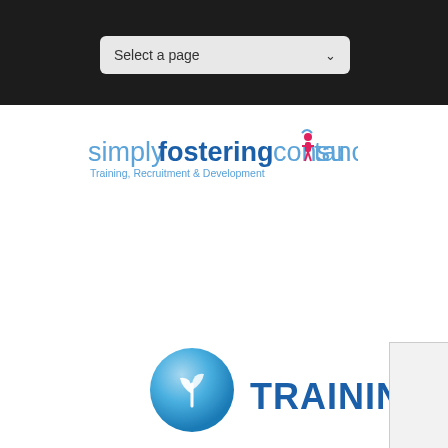[Figure (screenshot): Dark navigation bar with 'Select a page' dropdown selector]
[Figure (logo): Simply Fostering Consultancy logo with tagline 'Training, Recruitment & Development'. 'simply' and 'consultancy' in light blue, 'fostering' in dark blue bold, with a pink person figure replacing the 'i' dot in consultancy.]
TRAINING
[Figure (illustration): Blue circular globe icon with a white plant/sprout symbol inside]